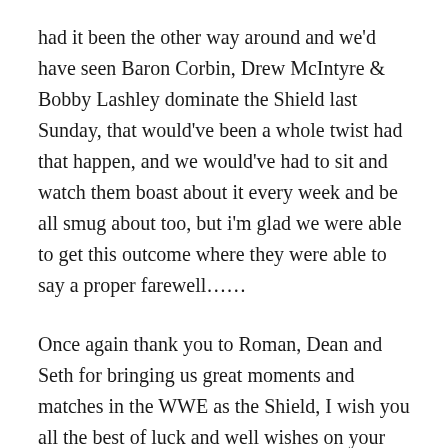had it been the other way around and we'd have seen Baron Corbin, Drew McIntyre & Bobby Lashley dominate the Shield last Sunday, that would've been a whole twist had that happen, and we would've had to sit and watch them boast about it every week and be all smug about too, but i'm glad we were able to get this outcome where they were able to say a proper farewell……
Once again thank you to Roman, Dean and Seth for bringing us great moments and matches in the WWE as the Shield, I wish you all the best of luck and well wishes on your next upcoming journey…………and just for old times sake I write you the famous opener line to the Shield's theme song.